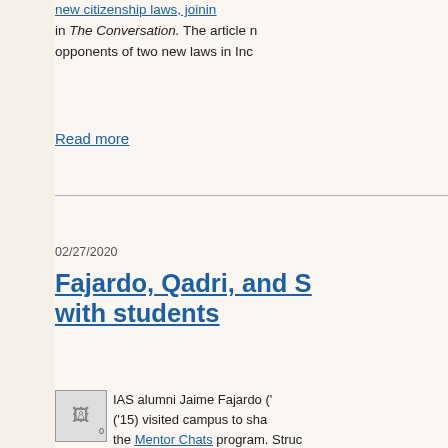new citizenship laws, joining... in The Conversation. The article n... opponents of two new laws in Inc...
Read more
02/27/2020
Fajardo, Qadri, and S... with students
IAS alumni Jaime Fajardo ('... ('15) visited campus to sha... the Mentor Chats program. Struc... whatever's on their minds – from ... navigating job searches to indust... the workforce. Fajardo, Qadri, and...
Read more
Displaying results 1-5 (of 19)